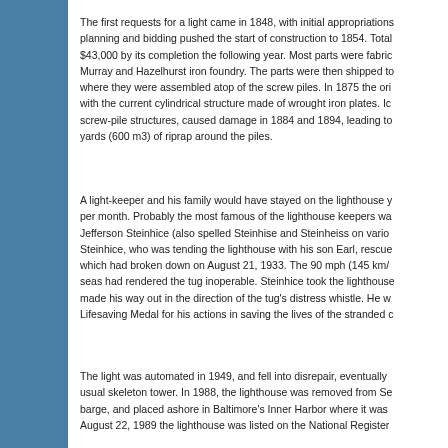The first requests for a light came in 1848, with initial appropriations planning and bidding pushed the start of construction to 1854. Total $43,000 by its completion the following year. Most parts were fabri Murray and Hazelhurst iron foundry. The parts were then shipped to where they were assembled atop of the screw piles. In 1875 the ori with the current cylindrical structure made of wrought iron plates. Ic screw-pile structures, caused damage in 1884 and 1894, leading to yards (600 m3) of riprap around the piles.
A light-keeper and his family would have stayed on the lighthouse y per month. Probably the most famous of the lighthouse keepers wa Jefferson Steinhice (also spelled Steinhise and Steinheiss on vario Steinhice, who was tending the lighthouse with his son Earl, rescue which had broken down on August 21, 1933. The 90 mph (145 km/ seas had rendered the tug inoperable. Steinhice took the lighthouses made his way out in the direction of the tug's distress whistle. He w Lifesaving Medal for his actions in saving the lives of the stranded c
The light was automated in 1949, and fell into disrepair, eventually usual skeleton tower. In 1988, the lighthouse was removed from Se barge, and placed ashore in Baltimore's Inner Harbor where it was August 22, 1989 the lighthouse was listed on the National Register